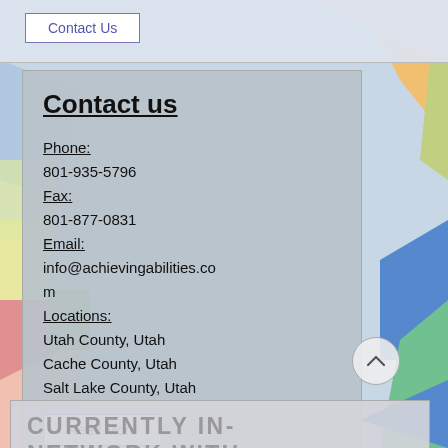Contact Us
Contact us
Phone:
801-935-5796
Fax:
801-877-0831
Email:
info@achievingabilities.com
Locations:
Utah County, Utah
Cache County, Utah
Salt Lake County, Utah
Read More
CURRENTLY IN-NETWORK WITH: